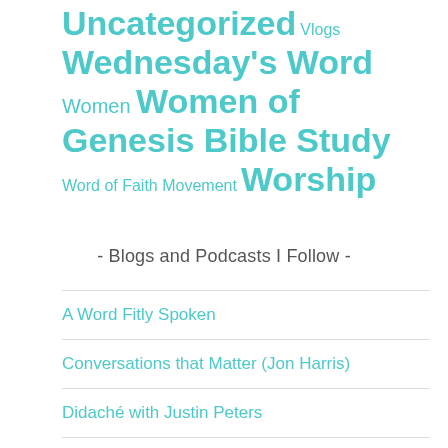Uncategorized  Vlogs  Wednesday's Word  Women  Women of Genesis Bible Study  Word of Faith Movement  Worship
- Blogs and Podcasts I Follow -
A Word Fitly Spoken
Conversations that Matter (Jon Harris)
Didaché with Justin Peters
Fighting for the Faith
For the Gospel